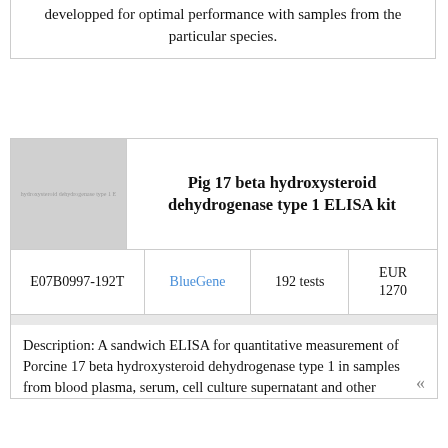developped for optimal performance with samples from the particular species.
[Figure (photo): Product image placeholder for Pig 17 beta hydroxysteroid dehydrogenase type 1 ELISA kit]
Pig 17 beta hydroxysteroid dehydrogenase type 1 ELISA kit
| SKU | Brand | Quantity | Price |
| --- | --- | --- | --- |
| E07B0997-192T | BlueGene | 192 tests | EUR 1270 |
Description: A sandwich ELISA for quantitative measurement of Porcine 17 beta hydroxysteroid dehydrogenase type 1 in samples from blood, plasma, serum, cell culture supernatant and other